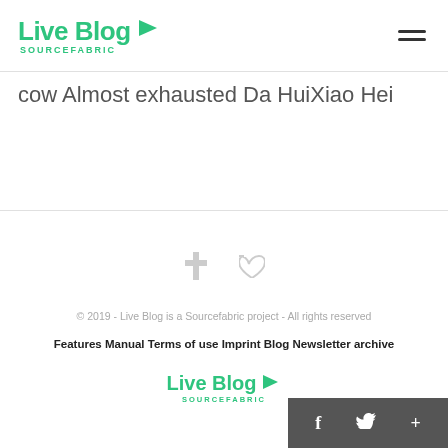Live Blog SOURCEFABRIC
cow Almost exhausted Da HuiXiao Hei
© 2019 - Live Blog is a Sourcefabric project - All rights reserved
Features Manual Terms of use Imprint Blog Newsletter archive
[Figure (logo): Live Blog Sourcefabric logo in green at the bottom footer]
f  Twitter  +